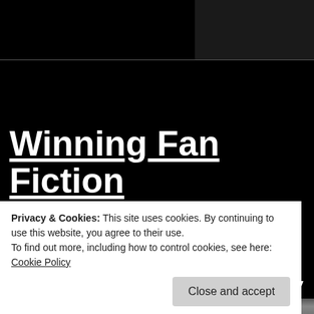[Figure (screenshot): Dark background webpage screenshot showing a blog post title 'Winning Fan Fiction Screenplay – ROCKETEERS by Gil' with a cookie consent banner overlay.]
Winning Fan Fiction Screenplay –
ROCKETEERS by Gil
Privacy & Cookies: This site uses cookies. By continuing to use this website, you agree to their use.
To find out more, including how to control cookies, see here: Cookie Policy
Close and accept